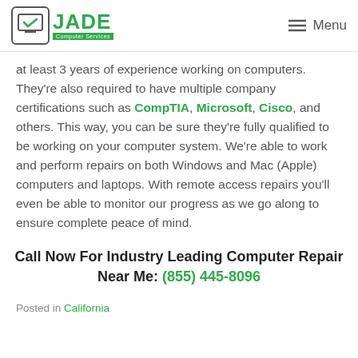JADE Computer Services | Menu
at least 3 years of experience working on computers. They're also required to have multiple company certifications such as CompTIA, Microsoft, Cisco, and others. This way, you can be sure they're fully qualified to be working on your computer system. We're able to work and perform repairs on both Windows and Mac (Apple) computers and laptops. With remote access repairs you'll even be able to monitor our progress as we go along to ensure complete peace of mind.
Call Now For Industry Leading Computer Repair Near Me: (855) 445-8096
Posted in California